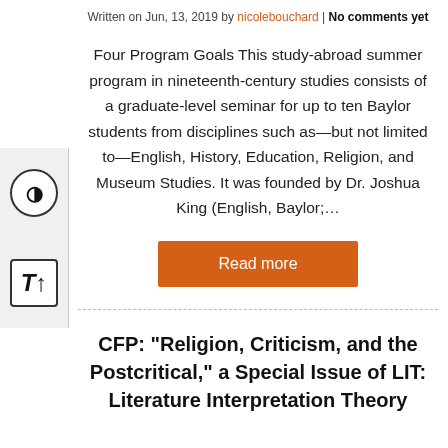Written on Jun, 13, 2019 by nicolebouchard | No comments yet
Four Program Goals This study-abroad summer program in nineteenth-century studies consists of a graduate-level seminar for up to ten Baylor students from disciplines such as—but not limited to—English, History, Education, Religion, and Museum Studies. It was founded by Dr. Joshua King (English, Baylor;…
Read more
CFP: “Religion, Criticism, and the Postcritical,” a Special Issue of LIT: Literature Interpretation Theory